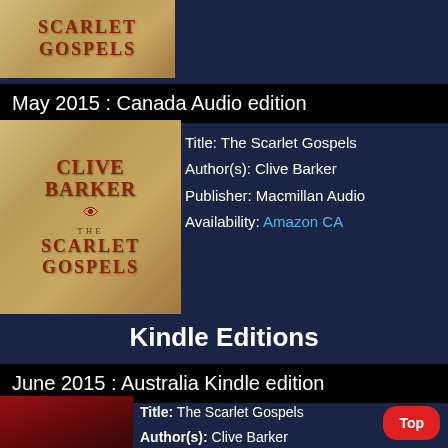[Figure (illustration): Book cover of The Scarlet Gospels showing decorative gold/brown textured background with red ornate title text]
May 2015 : Canada Audio edition
[Figure (illustration): Book cover of The Scarlet Gospels by Clive Barker - Canada Audio edition, tan/brown background with red gothic lettering and eye symbol]
Title: The Scarlet Gospels
Author(s): Clive Barker
Publisher: Macmillan Audio
Availability: Amazon CA
Kindle Editions
June 2015 : Australia Kindle edition
[Figure (illustration): Book cover of The Scarlet Gospels - Australia Kindle edition, dark red/black background with Clive text in gold]
Title: The Scarlet Gospels
Author(s): Clive Barker
Publisher: Macmillan